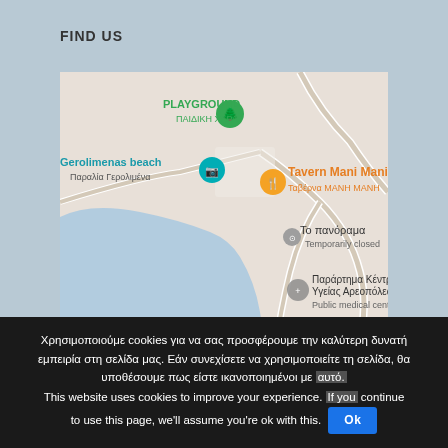FIND US
[Figure (map): Google Maps screenshot showing Gerolimenas beach area in Greece, with markers for PLAYGROUND/ΠΑΙΔΙΚΗ ΧΑΡΑ, Gerolimenas beach/Παραλία Γερολιμένα, Tavern Mani Mani/Ταβέρνα ΜΑΝΗ ΜΑΝΗ, Το πανόραμα (Temporarily closed), Παράρτημα Κέντρου Υγείας Αρεοπόλεως (Public medical center), and Kyrimai.]
Χρησιμοποιούμε cookies για να σας προσφέρουμε την καλύτερη δυνατή εμπειρία στη σελίδα μας. Εάν συνεχίσετε να χρησιμοποιείτε τη σελίδα, θα υποθέσουμε πως είστε ικανοποιημένοι με αυτό. This website uses cookies to improve your experience. If you continue to use this page, we'll assume you're ok with this.